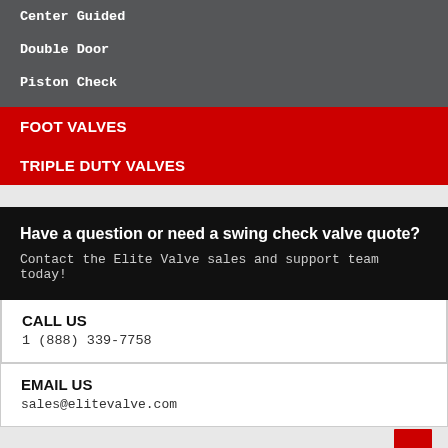Center Guided
Double Door
Piston Check
FOOT VALVES
TRIPLE DUTY VALVES
Have a question or need a swing check valve quote?
Contact the Elite Valve sales and support team today!
CALL US
1 (888) 339-7758
EMAIL US
sales@elitevalve.com